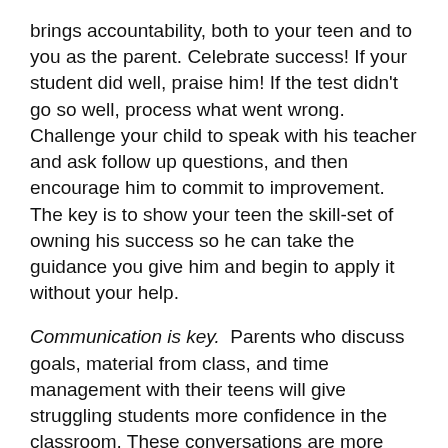brings accountability, both to your teen and to you as the parent. Celebrate success! If your student did well, praise him! If the test didn't go so well, process what went wrong.  Challenge your child to speak with his teacher and ask follow up questions, and then encourage him to commit to improvement. The key is to show your teen the skill-set of owning his success so he can take the guidance you give him and begin to apply it without your help.
Communication is key.  Parents who discuss goals, material from class, and time management with their teens will give struggling students more confidence in the classroom. These conversations are more effective when they start in January, instead of in early May when it's too late.
Chad Smith